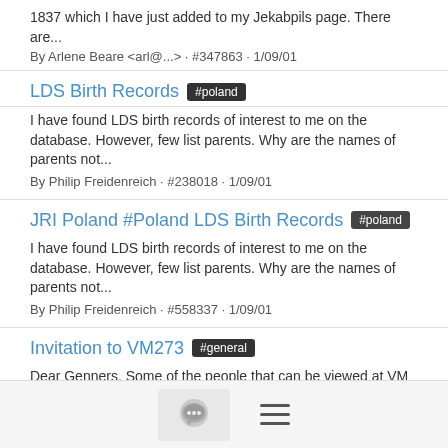1837 which I have just added to my Jekabpils page. There are...
By Arlene Beare <arl@...> · #347863 · 1/09/01
LDS Birth Records #poland
I have found LDS birth records of interest to me on the database. However, few list parents. Why are the names of parents not...
By Philip Freidenreich · #238018 · 1/09/01
JRI Poland #Poland LDS Birth Records #poland
I have found LDS birth records of interest to me on the database. However, few list parents. Why are the names of parents not...
By Philip Freidenreich · #558337 · 1/09/01
Invitation to VM273 #general
Dear Genners, Some of the people that can be viewed at VM 273 have very dominant genes. Their facial traits pass on >from...
By Lancy · #126804 · 1/09/01
Re: Tools for looking at old documents #general
Clear plastic sheets, often used for school papers and other